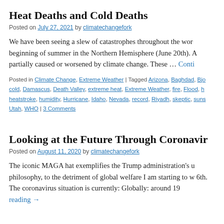Heat Deaths and Cold Deaths
Posted on July 27, 2021 by climatechangefork
We have been seeing a slew of catastrophes throughout the world beginning of summer in the Northern Hemisphere (June 20th). A partially caused or worsened by climate change. These … Continue reading
Posted in Climate Change, Extreme Weather | Tagged Arizona, Baghdad, Bjo cold, Damascus, Death Valley, extreme heat, Extreme Weather, fire, Flood, h heatstroke, humidity, Hurricane, Idaho, Nevada, record, Riyadh, skeptic, suns Utah, WHO | 3 Comments
Looking at the Future Through Coronavirus
Posted on August 11, 2020 by climatechangefork
The iconic MAGA hat exemplifies the Trump administration's u philosophy, to the detriment of global welfare I am starting to w 6th. The coronavirus situation is currently: Globally: around 19 reading →